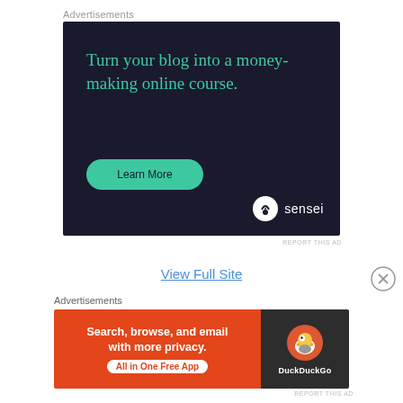Advertisements
[Figure (illustration): Sensei advertisement: dark navy background with teal text reading 'Turn your blog into a money-making online course.' with a teal 'Learn More' pill button and Sensei logo at bottom right]
REPORT THIS AD
View Full Site
Advertisements
[Figure (illustration): DuckDuckGo advertisement: orange left panel with 'Search, browse, and email with more privacy. All in One Free App' and dark right panel with DuckDuckGo duck logo]
REPORT THIS AD